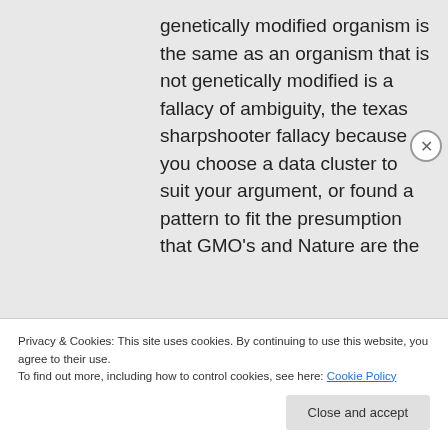genetically modified organism is the same as an organism that is not genetically modified is a fallacy of ambiguity, the texas sharpshooter fallacy because you choose a data cluster to suit your argument, or found a pattern to fit the presumption that GMO's and Nature are the
Privacy & Cookies: This site uses cookies. By continuing to use this website, you agree to their use.
To find out more, including how to control cookies, see here: Cookie Policy